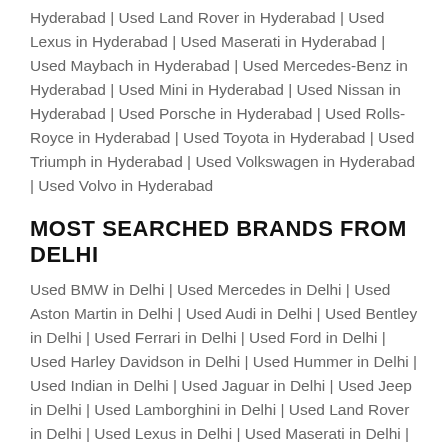Hyderabad | Used Land Rover in Hyderabad | Used Lexus in Hyderabad | Used Maserati in Hyderabad | Used Maybach in Hyderabad | Used Mercedes-Benz in Hyderabad | Used Mini in Hyderabad | Used Nissan in Hyderabad | Used Porsche in Hyderabad | Used Rolls-Royce in Hyderabad | Used Toyota in Hyderabad | Used Triumph in Hyderabad | Used Volkswagen in Hyderabad | Used Volvo in Hyderabad
MOST SEARCHED BRANDS FROM DELHI
Used BMW in Delhi | Used Mercedes in Delhi | Used Aston Martin in Delhi | Used Audi in Delhi | Used Bentley in Delhi | Used Ferrari in Delhi | Used Ford in Delhi | Used Harley Davidson in Delhi | Used Hummer in Delhi | Used Indian in Delhi | Used Jaguar in Delhi | Used Jeep in Delhi | Used Lamborghini in Delhi | Used Land Rover in Delhi | Used Lexus in Delhi | Used Maserati in Delhi | Used Maybach in